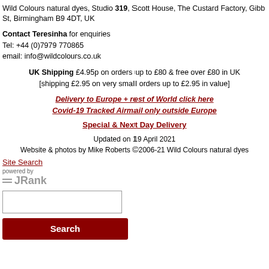Wild Colours natural dyes, Studio 319, Scott House, The Custard Factory, Gibb St, Birmingham B9 4DT, UK
Contact Teresinha for enquiries
Tel: +44 (0)7979 770865
email: info@wildcolours.co.uk
UK Shipping £4.95p on orders up to £80 & free over £80 in UK [shipping £2.95 on very small orders up to £2.95 in value]
Delivery to Europe + rest of World click here
Covid-19 Tracked Airmail only outside Europe
Special & Next Day Delivery
Updated on 19 April 2021
Website & photos by Mike Roberts ©2006-21 Wild Colours natural dyes
Site Search
powered by JRank